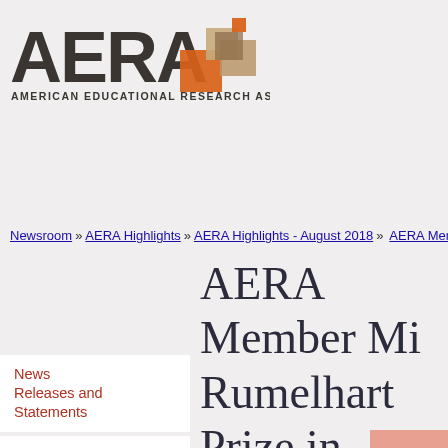[Figure (logo): AERA (American Educational Research Association) logo with colorful block squares and 'FOUNDED 1916' text]
Newsroom » AERA Highlights » AERA Highlights - August 2018 » AERA Member Mi...
AERA Member Mi... Rumelhart Prize in...
News Releases and Statements
AERA in the News
Recent AERA Research